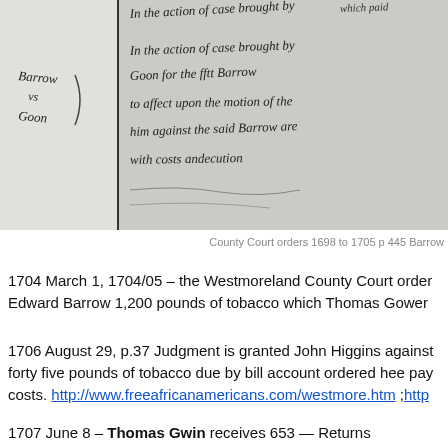[Figure (photo): Scanned historical handwritten manuscript page showing old cursive court document text, black ink on aged paper, partially cropped]
County Court orders 1698 to 1705 p 445 Barrow
1704 March 1, 1704/05 – the Westmoreland County Court orders Edward Barrow 1,200 pounds of tobacco which Thomas Gower
1706 August 29, p.37 Judgment is granted John Higgins against forty five pounds of tobacco due by bill account ordered hee pay costs. http://www.freeafricanamericans.com/westmore.htm ;http
1707 June 8 – Thomas Gwin receives 653 — Returns